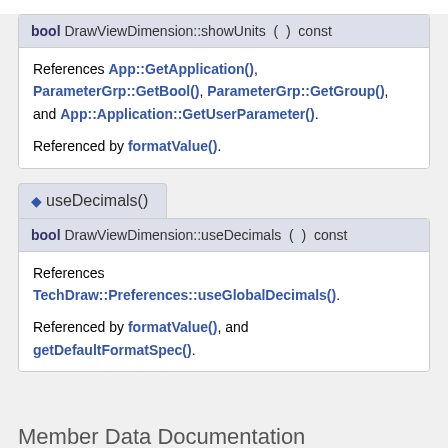bool DrawViewDimension::showUnits ( ) const
References App::GetApplication(), ParameterGrp::GetBool(), ParameterGrp::GetGroup(), and App::Application::GetUserParameter().
Referenced by formatValue().
useDecimals()
bool DrawViewDimension::useDecimals ( ) const
References TechDraw::Preferences::useGlobalDecimals().
Referenced by formatValue(), and getDefaultFormatSpec().
Member Data Documentation